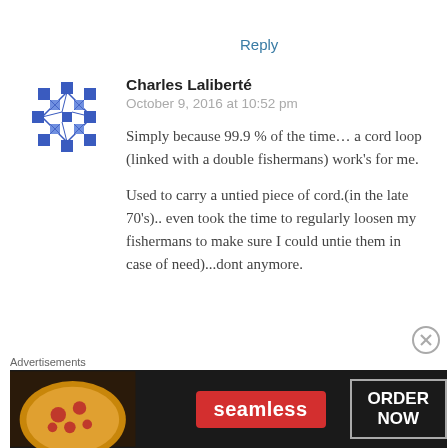Reply
[Figure (illustration): Blue geometric avatar icon with diamond/square pattern mosaic]
Charles Laliberté
October 9, 2016 at 10:52 pm
Simply because 99.9 % of the time… a cord loop (linked with a double fishermans) work's for me.
Used to carry a untied piece of cord.(in the late 70's).. even took the time to regularly loosen my fishermans to make sure I could untie them in case of need)...dont anymore.
[Figure (screenshot): Seamless food ordering advertisement banner with pizza image, seamless red logo, and ORDER NOW button]